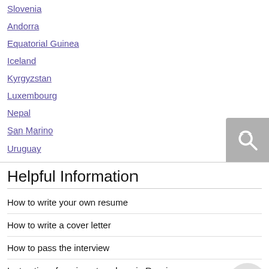Slovenia
Andorra
Equatorial Guinea
Iceland
Kyrgyzstan
Luxembourg
Nepal
San Marino
Uruguay
Helpful Information
How to write your own resume
How to write a cover letter
How to pass the interview
Instructions for migrant workers in Russia
How to enter Russia legally